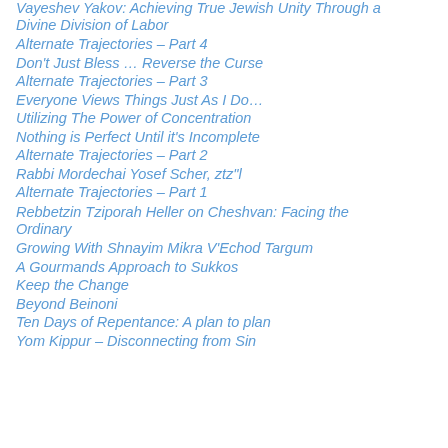Vayeshev Yakov: Achieving True Jewish Unity Through a Divine Division of Labor
Alternate Trajectories – Part 4
Don't Just Bless … Reverse the Curse
Alternate Trajectories – Part 3
Everyone Views Things Just As I Do…
Utilizing The Power of Concentration
Nothing is Perfect Until it's Incomplete
Alternate Trajectories – Part 2
Rabbi Mordechai Yosef Scher, ztz"l
Alternate Trajectories – Part 1
Rebbetzin Tziporah Heller on Cheshvan: Facing the Ordinary
Growing With Shnayim Mikra V'Echod Targum
A Gourmands Approach to Sukkos
Keep the Change
Beyond Beinoni
Ten Days of Repentance: A plan to plan
Yom Kippur – Disconnecting from Sin